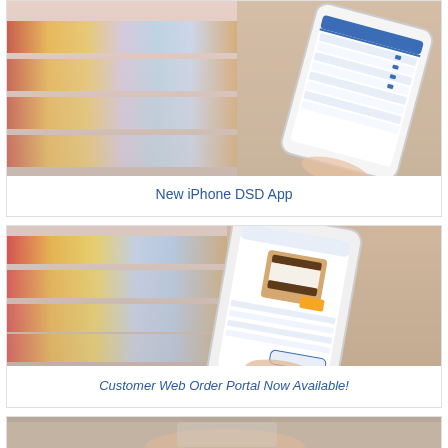[Figure (photo): Person holding a smartphone displaying a DSD order/inventory app, standing in front of a colorful grocery store shelf]
New iPhone DSD App
[Figure (photo): Person holding a smartphone showing a Customer Web Order Portal with an ice cream sandwich product, standing in front of a colorful grocery store shelf]
Customer Web Order Portal Now Available!
[Figure (photo): Partial view of a person holding a tablet or device, bottom of page cut off]